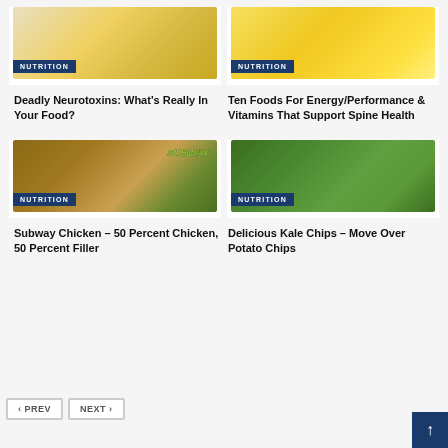[Figure (photo): Person holding bananas - nutrition article image with NUTRITION badge]
Deadly Neurotoxins: What's Really In Your Food?
[Figure (photo): Person doing yoga pose - nutrition article image with NUTRITION badge]
Ten Foods For Energy/Performance & Vitamins That Support Spine Health
[Figure (photo): Subway sandwich with SUBWAY logo and NUTRITION badge]
Subway Chicken – 50 Percent Chicken, 50 Percent Filler
[Figure (photo): Kale chips in bowl - nutrition article image with NUTRITION badge]
Delicious Kale Chips – Move Over Potato Chips